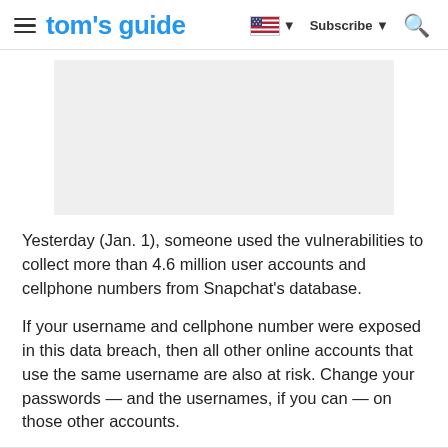tom's guide  Subscribe
[Figure (other): Gray advertisement placeholder rectangle]
Yesterday (Jan. 1), someone used the vulnerabilities to collect more than 4.6 million user accounts and cellphone numbers from Snapchat's database.
If your username and cellphone number were exposed in this data breach, then all other online accounts that use the same username are also at risk. Change your passwords — and the usernames, if you can — on those other accounts.